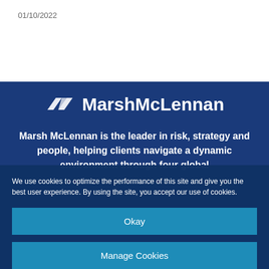01/10/2022
[Figure (logo): MarshMcLennan logo with white interlocking shapes icon and bold white text on dark blue background]
Marsh McLennan is the leader in risk, strategy and people, helping clients navigate a dynamic environment through four global
We use cookies to optimize the performance of this site and give you the best user experience. By using the site, you accept our use of cookies.
Okay
Manage Cookies